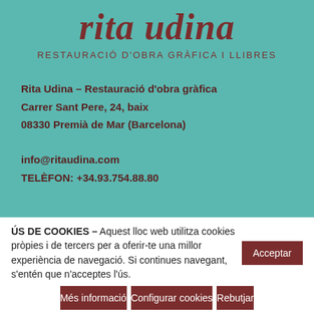rita udina
RESTAURACIÓ D'OBRA GRÀFICA I LLIBRES
Rita Udina – Restauració d'obra gràfica
Carrer Sant Pere, 24, baix
08330 Premià de Mar (Barcelona)
info@ritaudina.com
TELÈFON: +34.93.754.88.80
ÚS DE COOKIES – Aquest lloc web utilitza cookies pròpies i de tercers per a oferir-te una millor experiència de navegació. Si continues navegant, s'entén que n'acceptes l'ús.
Acceptar
Més informació
Configurar cookies
Rebutjar